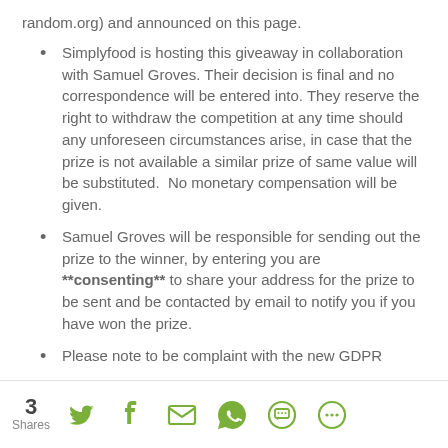random.org) and announced on this page.
Simplyfood is hosting this giveaway in collaboration with Samuel Groves. Their decision is final and no correspondence will be entered into. They reserve the right to withdraw the competition at any time should any unforeseen circumstances arise, in case that the prize is not available a similar prize of same value will be substituted.  No monetary compensation will be given.
Samuel Groves will be responsible for sending out the prize to the winner, by entering you are **consenting** to share your address for the prize to be sent and be contacted by email to notify you if you have won the prize.
Please note to be complaint with the new GDPR
3 Shares [Twitter] [Facebook] [Email] [WhatsApp] [SMS] [More]